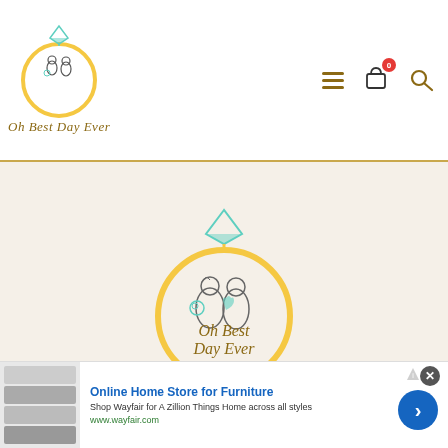[Figure (logo): Oh Best Day Ever wedding website logo in header — circular ring with couple illustration and script text]
[Figure (logo): Oh Best Day Ever large central logo on cream background — ring with couple, text 'Oh Best Day Ever' inside ring]
OH BEST DAY EVER
[Figure (screenshot): Advertisement banner: Online Home Store for Furniture — Shop Wayfair for A Zillion Things Home across all styles — www.wayfair.com]